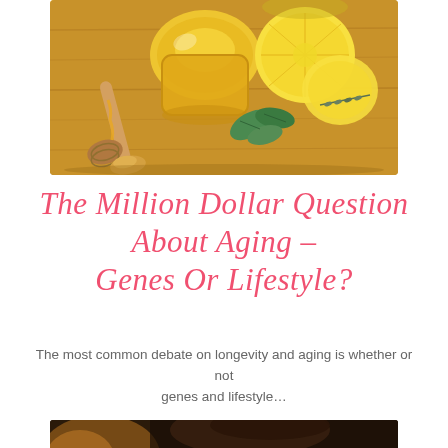[Figure (photo): Photo of honey in a glass jar, lemon halves, a wooden honey dipper, and green herbs on a wooden cutting board]
The Million Dollar Question About Aging – Genes Or Lifestyle?
The most common debate on longevity and aging is whether or not genes and lifestyle…
[Figure (photo): Partial photo visible at the bottom of the page, dark warm tones, appears to show a person]